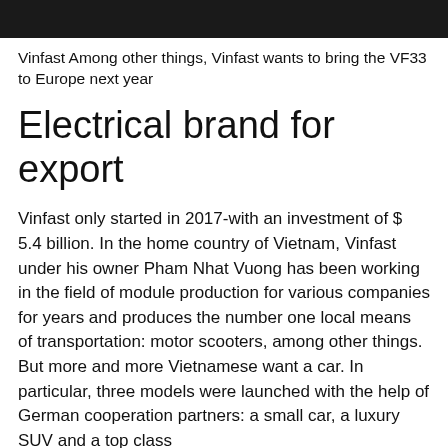[Figure (photo): Dark/black image strip at top of page, appears to be a partial photo]
Vinfast Among other things, Vinfast wants to bring the VF33 to Europe next year
Electrical brand for export
Vinfast only started in 2017-with an investment of $ 5.4 billion. In the home country of Vietnam, Vinfast under his owner Pham Nhat Vuong has been working in the field of module production for various companies for years and produces the number one local means of transportation: motor scooters, among other things. But more and more Vietnamese want a car. In particular, three models were launched with the help of German cooperation partners: a small car, a luxury SUV and a top class